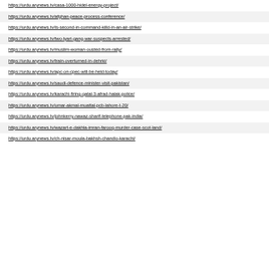https://urdu.arynews.tv/casa-1000-hidel-energy-project/
https://urdu.arynews.tv/afghan-peace-process-conference/
https://urdu.arynews.tv/is-second-in-command-killd-in-an-air-strike/
https://urdu.arynews.tv/two-lyari-gang-war-suspects-arrested/
https://urdu.arynews.tv/muslim-woman-ousted-from-rally/
https://urdu.arynews.tv/train-overturned-in-dehrki/
https://urdu.arynews.tv/apc-on-cpec-will-be-held-today/
https://urdu.arynews.tv/saudi-defence-minister-visit-pakistan/
https://urdu.arynews.tv/karachi-firing-qatal-3-afrad-halak-police/
https://urdu.arynews.tv/umar-akmal-muattal-pcb-lahore-t-20/
https://urdu.arynews.tv/johnkerry-nawaz-sharif-telephone-pak-india/
https://urdu.arynews.tv/wazart-e-dakhla-imran-farooq-murder-case-scot-land/
https://urdu.arynews.tv/ch-nisar-moula-bakhsh-chandio-karachi/